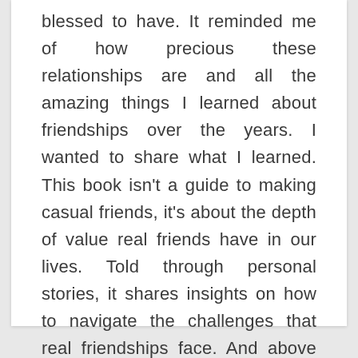blessed to have. It reminded me of how precious these relationships are and all the amazing things I learned about friendships over the years. I wanted to share what I learned. This book isn't a guide to making casual friends, it's about the depth of value real friends have in our lives. Told through personal stories, it shares insights on how to navigate the challenges that real friendships face. And above all, it reminds us to pause and acknowledge our friendships, these true treasures of life, while we still can. The Opposite Of Poverty Is Friendship is a reminder that life is almost meaningless without your friends; they are your greatest treasure.